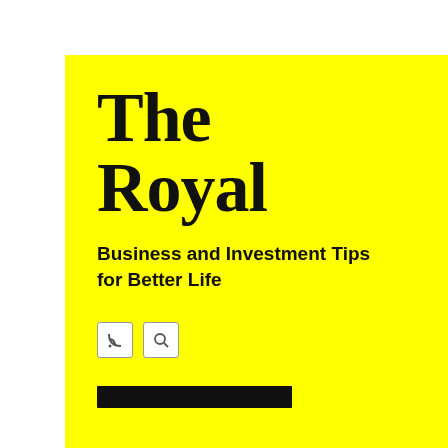[Figure (illustration): Yellow speech bubble card with 'The Royal' as large serif title, subtitle 'Business and Investment Tips for Better Life', RSS and search icons, and a black horizontal bar below.]
Person...
Uncat...
RECENT PO...
Read T...
Social...
Have ...
Every...
Looki...
TAGS
2>social me... effective l... html tags... promo... marketing o... business O...